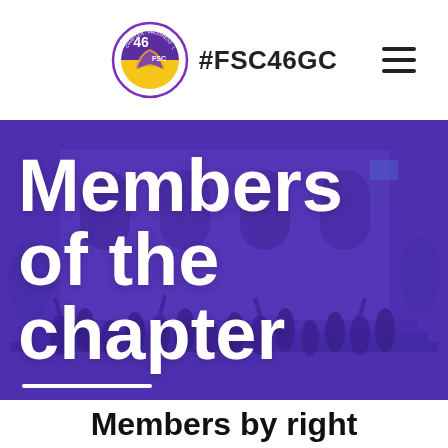#FSC46GC
[Figure (photo): Group photo of chapter members standing on outdoor steps of a building, overlaid with a purple/blue color filter. Large white bold text reads 'Members of the chapter'.]
Members of the chapter
Members by right